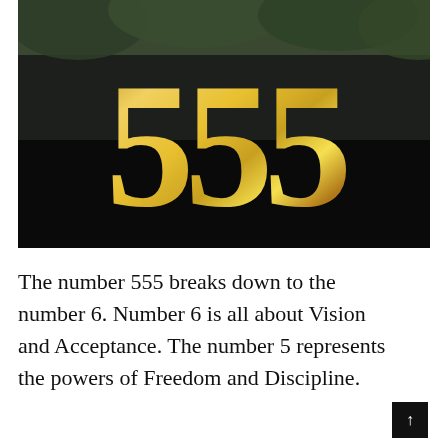[Figure (photo): Photograph of gold metallic number '555' mounted on a dark charcoal/black wall panel, with green tree foliage visible at the top. The numbers are large, polished gold with reflections.]
The number 555 breaks down to the number 6. Number 6 is all about Vision and Acceptance. The number 5 represents the powers of Freedom and Discipline.